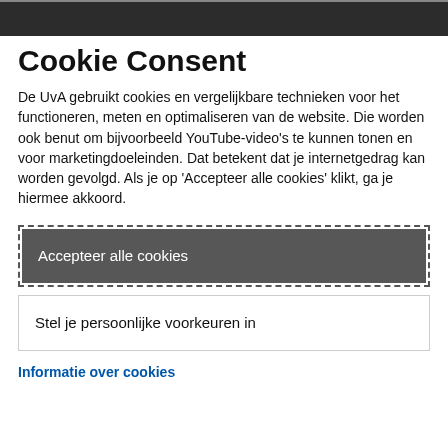Cookie Consent
De UvA gebruikt cookies en vergelijkbare technieken voor het functioneren, meten en optimaliseren van de website. Die worden ook benut om bijvoorbeeld YouTube-video's te kunnen tonen en voor marketingdoeleinden. Dat betekent dat je internetgedrag kan worden gevolgd. Als je op 'Accepteer alle cookies' klikt, ga je hiermee akkoord.
Accepteer alle cookies
Stel je persoonlijke voorkeuren in
Informatie over cookies